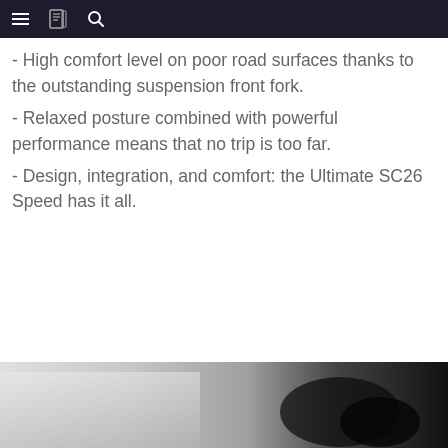Navigation bar with menu, book, and search icons
- High comfort level on poor road surfaces thanks to the outstanding suspension front fork.
- Relaxed posture combined with powerful performance means that no trip is too far.
- Design, integration, and comfort: the Ultimate SC26 Speed has it all.
[Figure (photo): Bottom portion of a bicycle or vehicle photo, showing dark mechanical components against a light-to-dark gradient background.]